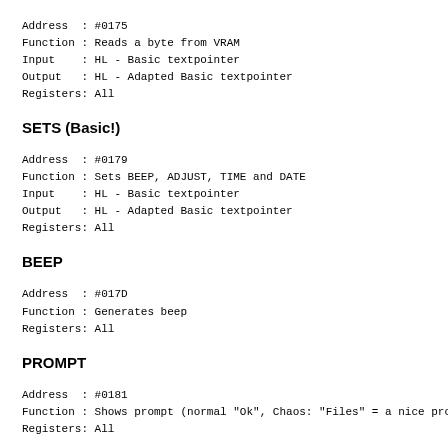Address  : #0175
Function : Reads a byte from VRAM
Input    : HL - Basic textpointer
Output   : HL - Adapted Basic textpointer
Registers: All
SETS (Basic!)
Address  : #0179
Function : Sets BEEP, ADJUST, TIME and DATE
Input    : HL - Basic textpointer
Output   : HL - Adapted Basic textpointer
Registers: All
BEEP
Address  : #017D
Function : Generates beep
Registers: All
PROMPT
Address  : #0181
Function : Shows prompt (normal "Ok", Chaos: "Files" = a nice prompt
Registers: All
SDFSCR